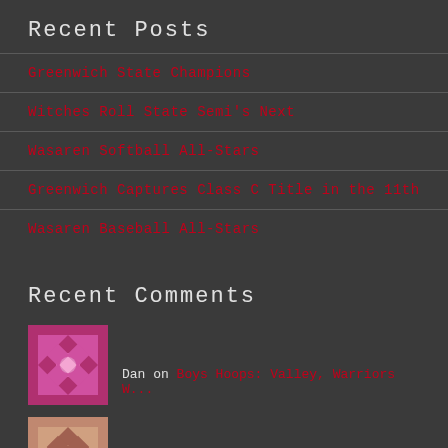Recent Posts
Greenwich State Champions
Witches Roll  State Semi's Next
Wasaren Softball All-Stars
Greenwich Captures Class C Title in the 11th
Wasaren Baseball All-Stars
Recent Comments
Dan on Boys Hoops: Valley, Warriors W...
Dice on Valley, Saints Post Wins